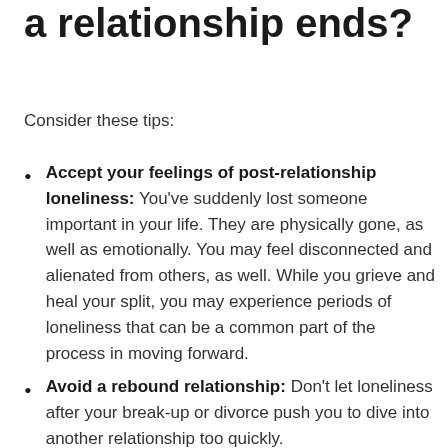a relationship ends?
Consider these tips:
Accept your feelings of post-relationship loneliness: You’ve suddenly lost someone important in your life. They are physically gone, as well as emotionally. You may feel disconnected and alienated from others, as well. While you grieve and heal your split, you may experience periods of loneliness that can be a common part of the process in moving forward.
Avoid a rebound relationship: Don’t let loneliness after your break-up or divorce push you to dive into another relationship too quickly.